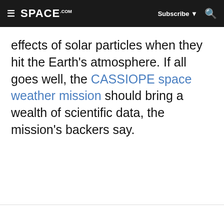SPACE.com | Subscribe | Search
effects of solar particles when they hit the Earth's atmosphere. If all goes well, the CASSIOPE space weather mission should bring a wealth of scientific data, the mission's backers say.